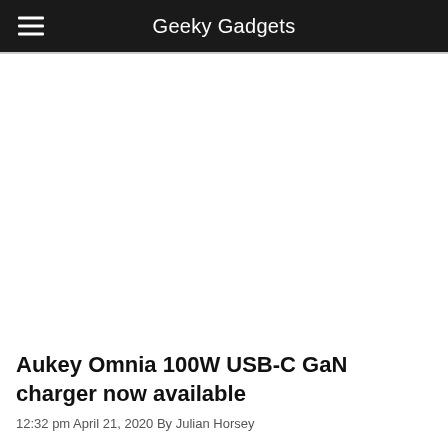Geeky Gadgets
[Figure (photo): White/blank image area placeholder for article hero image]
Aukey Omnia 100W USB-C GaN charger now available
12:32 pm April 21, 2020 By Julian Horsey